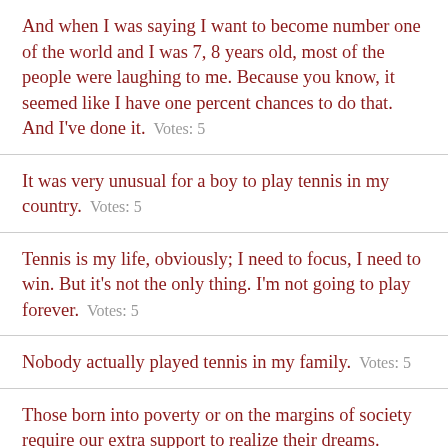And when I was saying I want to become number one of the world and I was 7, 8 years old, most of the people were laughing to me. Because you know, it seemed like I have one percent chances to do that. And I've done it.   Votes: 5
It was very unusual for a boy to play tennis in my country.   Votes: 5
Tennis is my life, obviously; I need to focus, I need to win. But it's not the only thing. I'm not going to play forever.   Votes: 5
Nobody actually played tennis in my family.   Votes: 5
Those born into poverty or on the margins of society require our extra support to realize their dreams.   Votes: 4